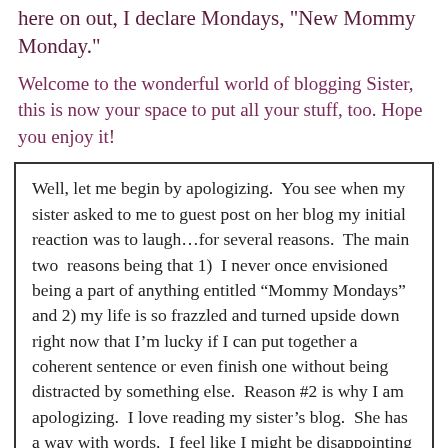here on out, I declare Mondays, "New Mommy Monday."
Welcome to the wonderful world of blogging Sister, this is now your space to put all your stuff, too. Hope you enjoy it!
Well, let me begin by apologizing. You see when my sister asked to me to guest post on her blog my initial reaction was to laugh…for several reasons. The main two reasons being that 1) I never once envisioned being a part of anything entitled “Mommy Mondays” and 2) my life is so frazzled and turned upside down right now that I’m lucky if I can put together a coherent sentence or even finish one without being distracted by something else. Reason #2 is why I am apologizing. I love reading my sister’s blog. She has a way with words. I feel like I might be disappointing a few of her readers with my bumbled thoughts on this new mommy life. Don’t get me wrong, I love to write, in my journal, where no one else can